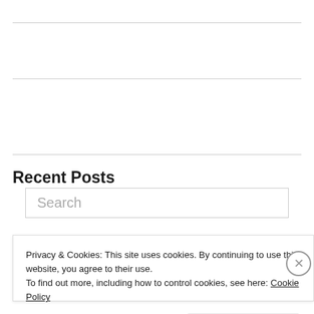[Figure (screenshot): Horizontal rule separator line at top of page]
[Figure (screenshot): Horizontal rule separator line in middle of page]
[Figure (screenshot): Search input box with placeholder text 'Search']
[Figure (screenshot): Horizontal rule separator line below search box]
Recent Posts
Success! I Knit a Hat.
Drop and Give Me Twenty
Privacy & Cookies: This site uses cookies. By continuing to use this website, you agree to their use.
To find out more, including how to control cookies, see here: Cookie Policy
Close and accept